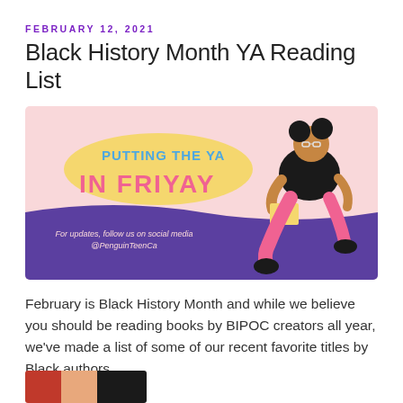FEBRUARY 12, 2021
Black History Month YA Reading List
[Figure (illustration): Promotional banner for 'Putting the YA in Friyay' by Penguin Teen Canada. Pink background with purple lower section. Yellow speech bubble with blue text 'PUTTING THE YA' and pink bold text 'IN FRIYAY'. Illustrated Black woman with afro puffs and glasses sitting and reading a yellow book, wearing black top, pink pants and black boots. Text: 'For updates, follow us on social media @PenguinTeenCa']
February is Black History Month and while we believe you should be reading books by BIPOC creators all year, we've made a list of some of our recent favorite titles by Black authors.
[Figure (photo): Partial bottom strip showing the beginning of a book cover image with red, orange and dark tones — cropped at page bottom]